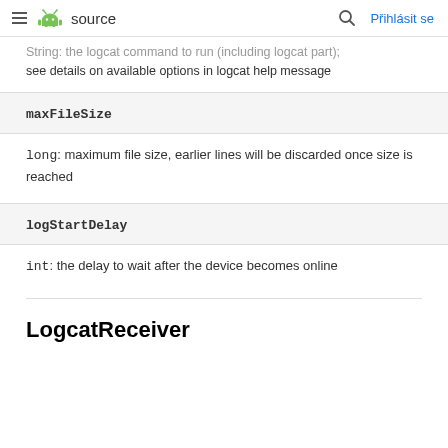≡ 🤖 source   🔍  Přihlásit se
String: the logcat command to run (including logcat part); see details on available options in logcat help message
maxFileSize
long: maximum file size, earlier lines will be discarded once size is reached
logStartDelay
int: the delay to wait after the device becomes online
LogcatReceiver